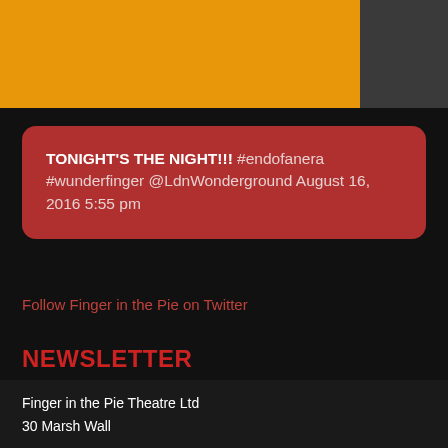[Figure (photo): Top banner split into orange section on left and dark gray section on right]
TONIGHT'S THE NIGHT!!! #endofanera #wunderfinger @LdnWonderground August 16, 2016 5:55 pm
Follow Finger in the Pie on Twitter
NEWSLETTER
Sign up to our mailing list:
Enter email address
GO
Finger in the Pie Theatre Ltd
30 Marsh Wall